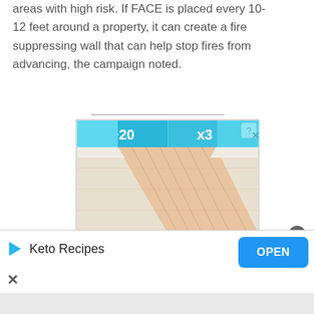areas with high risk. If PACE is placed every 10-12 feet around a property, it can create a fire suppressing wall that can help stop fires from advancing, the campaign noted.
[Figure (screenshot): A mobile game screenshot showing a bowling lane view from behind with score indicators '+20' and 'x3' displayed at the top in blue, with a close button (X) and help button (?) on the right side.]
[Figure (screenshot): Mobile advertisement banner for 'Keto Recipes' app with a blue play/arrow icon, the text 'Keto Recipes', and a blue 'OPEN' button on the right side. An X close button is shown at the bottom left.]